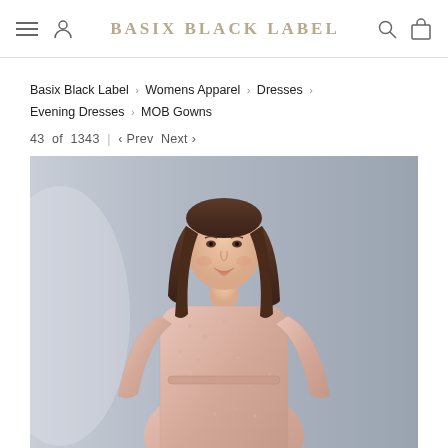BASIX BLACK LABEL
Basix Black Label › Womens Apparel › Dresses › Evening Dresses › MOB Gowns
43 of 1343 | ‹ Prev Next ›
[Figure (photo): Model wearing a pink beaded/embellished lace long-sleeve evening gown, photographed against a gray background. The model has long brown hair and is smiling slightly.]